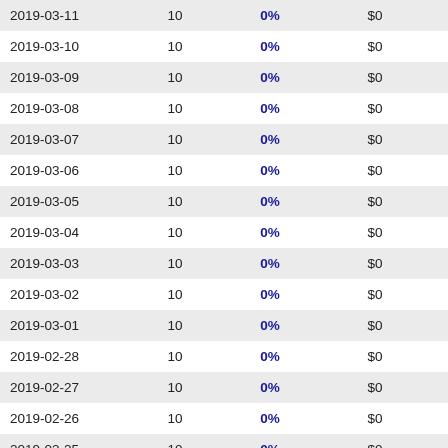| 2019-03-11 | 10 | 0% | $0 | -- |
| 2019-03-10 | 10 | 0% | $0 | -- |
| 2019-03-09 | 10 | 0% | $0 | -- |
| 2019-03-08 | 10 | 0% | $0 | -- |
| 2019-03-07 | 10 | 0% | $0 | -- |
| 2019-03-06 | 10 | 0% | $0 | -- |
| 2019-03-05 | 10 | 0% | $0 | -- |
| 2019-03-04 | 10 | 0% | $0 | -- |
| 2019-03-03 | 10 | 0% | $0 | -- |
| 2019-03-02 | 10 | 0% | $0 | -- |
| 2019-03-01 | 10 | 0% | $0 | -- |
| 2019-02-28 | 10 | 0% | $0 | -- |
| 2019-02-27 | 10 | 0% | $0 | -- |
| 2019-02-26 | 10 | 0% | $0 | -- |
| 2019-02-25 | 10 | 0% | $0 | -- |
| 2019-02-24 | 10 | 0% | $0 | -- |